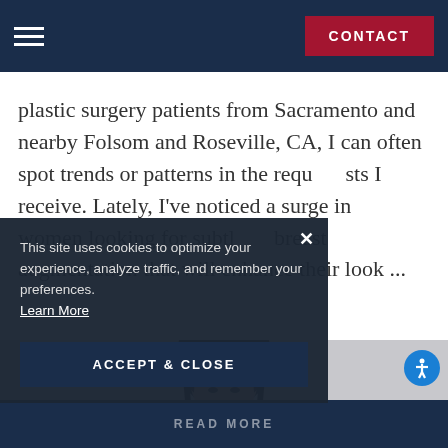CONTACT
plastic surgery patients from Sacramento and nearby Folsom and Roseville, CA, I can often spot trends or patterns in the requests I receive. Lately, I've noticed a surge in women looking for subtl b east augmentation that will enhance their look ...
This site uses cookies to optimize your experience, analyze traffic, and remember your preferences. Learn More
ACCEPT & CLOSE
READ MORE
[Figure (photo): Portrait photo of a young Asian woman with long dark hair, smiling, against a light background]